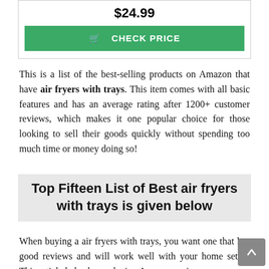$24.99
CHECK PRICE
This is a list of the best-selling products on Amazon that have air fryers with trays. This item comes with all basic features and has an average rating after 1200+ customer reviews, which makes it one popular choice for those looking to sell their goods quickly without spending too much time or money doing so!
Top Fifteen List of Best air fryers with trays is given below
When buying a air fryers with trays, you want one that has good reviews and will work well with your home setup. This article helps by analyzing Amazon reviews